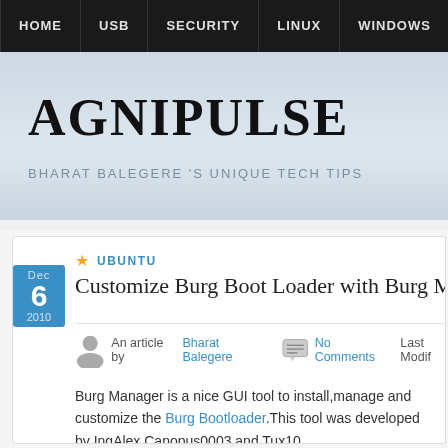HOME | USB | SECURITY | LINUX | WINDOWS | INTERNET | FREE
AGNIPULSE
BHARAT BALEGERE 'S UNIQUE TECH TIPS
UBUNTU
Customize Burg Boot Loader with Burg M
An article by Bharat Balegere  No Comments  Last Modif
Burg Manager is a nice GUI tool to install,manage and customize the Burg Bootloader.This tool was developed by IngAlex,Canopus0003 and Tux10.